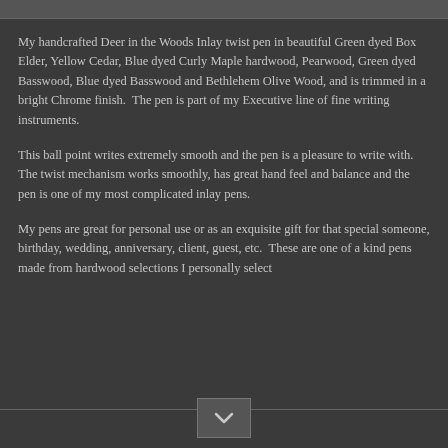My handcrafted Deer in the Woods Inlay twist pen in beautiful Green dyed Box Elder, Yellow Cedar, Blue dyed Curly Maple hardwood, Pearwood, Green dyed Basswood, Blue dyed Basswood and Bethlehem Olive Wood, and is trimmed in a bright Chrome finish.  The pen is part of my Executive line of fine writing instruments.
This ball point writes extremely smooth and the pen is a pleasure to write with.  The twist mechanism works smoothly, has great hand feel and balance and the pen is one of my most complicated inlay pens.
My pens are great for personal use or as an exquisite gift for that special someone, birthday, wedding, anniversary, client, guest, etc.  These are one of a kind pens made from hardwood selections I personally select